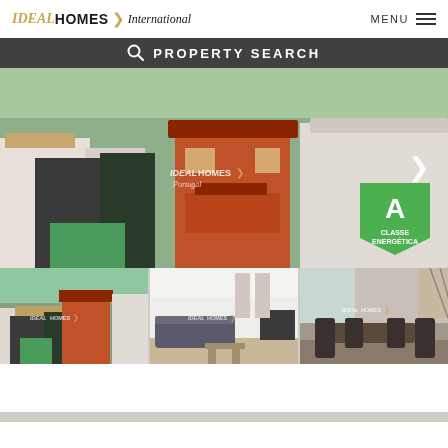IDEAL HOMES International   MENU
PROPERTY SEARCH
[Figure (photo): Aerial view of an orange two-story house surrounded by white buildings in a Portuguese town, with an energy rating label 'A CLASSE ENERGÉTICA' in the lower right corner. Ideal Homes Portugal watermark and a right navigation arrow visible.]
[Figure (photo): Three thumbnail photos: left shows aerial view of the orange house, center shows a modern living room interior with grey sofa and TV, right shows a dining area with dark chairs.]